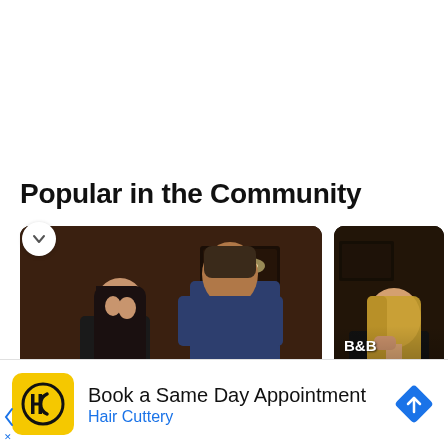Popular in the Community
[Figure (photo): TV show still: woman with long dark hair facing a tall man in a dark room. Caption overlay: B&B Spoilers: Carter's Tragic heartbreak, How Quinn's E...]
[Figure (photo): TV show still: blonde woman looking pensive, partial view. Caption overlay: B&B Spoilers: Ho... Feelings For Tho...]
Book a Same Day Appointment
Hair Cuttery